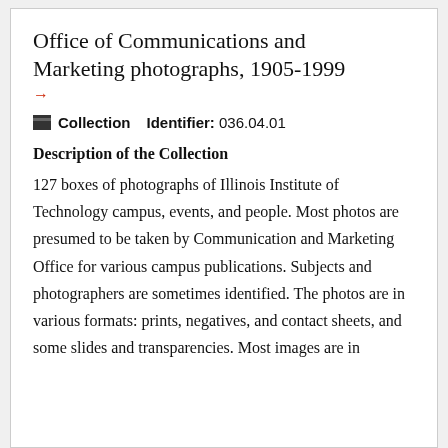Office of Communications and Marketing photographs, 1905-1999
→
■ Collection   Identifier: 036.04.01
Description of the Collection
127 boxes of photographs of Illinois Institute of Technology campus, events, and people. Most photos are presumed to be taken by Communication and Marketing Office for various campus publications. Subjects and photographers are sometimes identified. The photos are in various formats: prints, negatives, and contact sheets, and some slides and transparencies. Most images are in